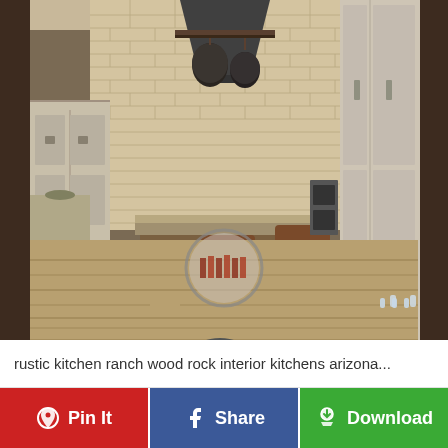[Figure (photo): Rustic kitchen interior with brick walls, wood plank flooring, a central island with wooden counter, brown leather dining chairs around a wooden table, hanging pot rack with black hood above the island, white/cream distressed cabinetry on both sides, and stainless steel appliances. A circular logo watermark is visible near the bottom center of the image.]
rustic kitchen ranch wood rock interior kitchens arizona...
Pin It
Share
Download